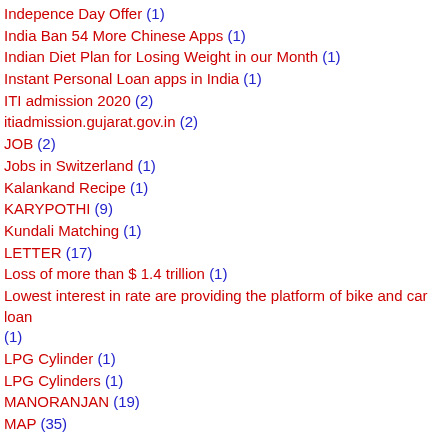Indepence Day Offer (1)
India Ban 54 More Chinese Apps (1)
Indian Diet Plan for Losing Weight in our Month (1)
Instant Personal Loan apps in India (1)
ITI admission 2020 (2)
itiadmission.gujarat.gov.in (2)
JOB (2)
Jobs in Switzerland (1)
Kalankand Recipe (1)
KARYPOTHI (9)
Kundali Matching (1)
LETTER (17)
Loss of more than $ 1.4 trillion (1)
Lowest interest in rate are providing the platform of bike and car loan (1)
LPG Cylinder (1)
LPG Cylinders (1)
MANORANJAN (19)
MAP (35)